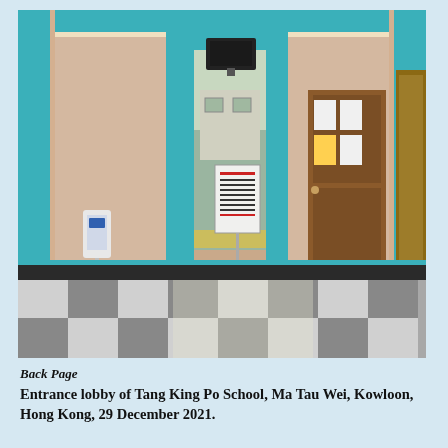[Figure (photo): Interior entrance lobby of Tang King Po School, Ma Tau Wei, Kowloon, Hong Kong. The lobby features teal/turquoise painted columns and walls with pink/cream paneling, a checkered floor in grey and white, a hand sanitizer dispenser on a stand in the foreground left, a brown wooden door on the right with notices posted on it, a trophy cabinet on the far right, and an archway leading to an outdoor courtyard. A TV screen/monitor is mounted above the archway. Year: 29 December 2021.]
Back Page
Entrance lobby of Tang King Po School, Ma Tau Wei, Kowloon, Hong Kong, 29 December 2021.